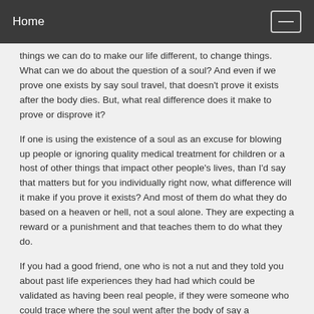Home
things we can do to make our life different, to change things. What can we do about the question of a soul? And even if we prove one exists by say soul travel, that doesn't prove it exists after the body dies. But, what real difference does it make to prove or disprove it?
If one is using the existence of a soul as an excuse for blowing up people or ignoring quality medical treatment for children or a host of other things that impact other people's lives, than I'd say that matters but for you individually right now, what difference will it make if you prove it exists? And most of them do what they do based on a heaven or hell, not a soul alone. They are expecting a reward or a punishment and that teaches them to do what they do.
If you had a good friend, one who is not a nut and they told you about past life experiences they had had which could be validated as having been real people, if they were someone who could trace where the soul went after the body of say a grandfather had died and knew the next life it went to, so, and they say we can validate it, would